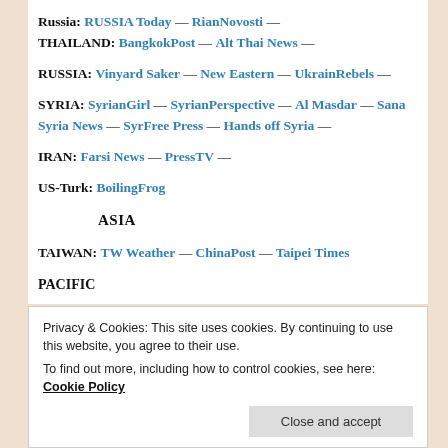Russia: RUSSIA Today — RianNovosti — THAILAND: BangkokPost — Alt Thai News —
RUSSIA: Vinyard Saker — New Eastern — UkrainRebels —
SYRIA: SyrianGirl — SyrianPerspective — Al Masdar — Sana Syria News — SyrFree Press — Hands off Syria —
IRAN: Farsi News — PressTV —
US-Turk: BoilingFrog
ASIA
TAIWAN: TW Weather — ChinaPost — Taipei Times
PACIFIC
Privacy & Cookies: This site uses cookies. By continuing to use this website, you agree to their use. To find out more, including how to control cookies, see here: Cookie Policy
Close and accept